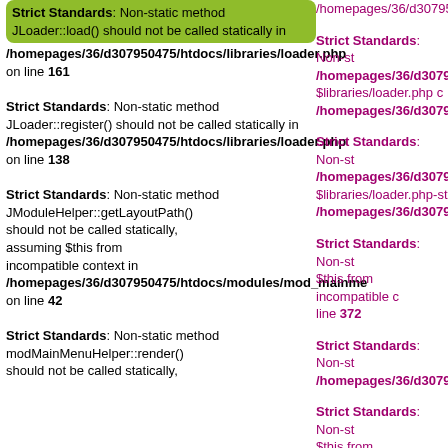Strict Standards: Non-static method JLoader::load() should not be called statically in /homepages/36/d307950475/htdocs/libraries/loader.php on line 161
Strict Standards: Non-static method JLoader::register() should not be called statically in /homepages/36/d307950475/htdocs/libraries/loader.php on line 138
Strict Standards: Non-static method JModuleHelper::getLayoutPath() should not be called statically, assuming $this from incompatible context in /homepages/36/d307950475/htdocs/modules/mod_mainme on line 42
Strict Standards: Non-static method modMainMenuHelper::render() should not be called statically,
/homepages/36/d307950-
Strict Standards: Non-st /homepages/36/d307950- $libraries/loader.php c /homepages/36/d307950-
Strict Standards: Non-st /homepages/36/d307950- $libraries/loader.php-st /homepages/36/d307950-
Strict Standards: Non-st $this from incompatible c line 372
Strict Standards: Non-st /homepages/36/d307950-
Strict Standards: Non-st $this from incompatible c /homepages/36/d307950-
Strict Standards: Non-st from incompatible contex /homepages/36/d307950-